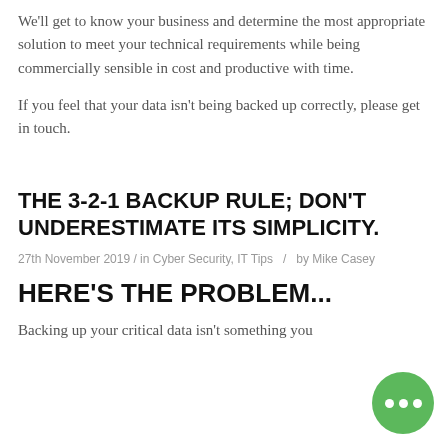We'll get to know your business and determine the most appropriate solution to meet your technical requirements while being commercially sensible in cost and productive with time.
If you feel that your data isn't being backed up correctly, please get in touch.
THE 3-2-1 BACKUP RULE; DON'T UNDERESTIMATE ITS SIMPLICITY.
27th November 2019 / in Cyber Security, IT Tips / by Mike Casey
HERE'S THE PROBLEM...
Backing up your critical data isn't something you